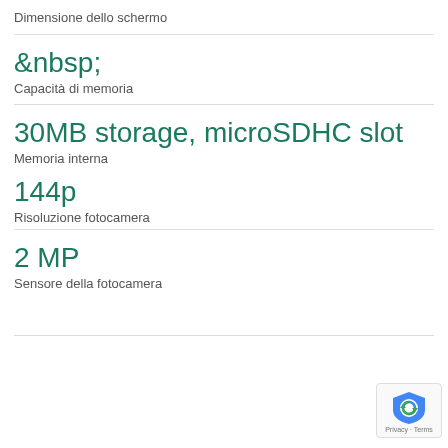Dimensione dello schermo
&nbsp;
Capacità di memoria
30MB storage, microSDHC slot
Memoria interna
144p
Risoluzione fotocamera
2 MP
Sensore della fotocamera
[Figure (logo): Google reCAPTCHA badge with shield icon and Privacy - Terms text]